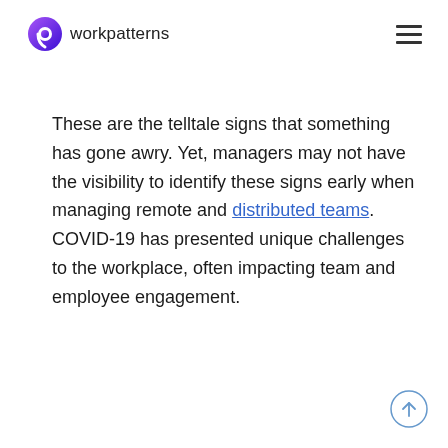workpatterns
These are the telltale signs that something has gone awry. Yet, managers may not have the visibility to identify these signs early when managing remote and distributed teams. COVID-19 has presented unique challenges to the workplace, often impacting team and employee engagement.